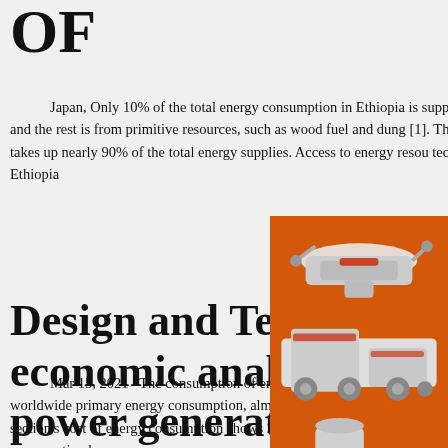OF
Japan, Only 10% of the total energy consumption in Ethiopia is supplied by electric power and the rest is from primitive resources, such as wood fuel and dung [1]. The household sector takes up nearly 90% of the total energy supplies. Access to energy resources and technologies in rural Ethiopia
Design and Techno economic analysis power generating
Mar 15, 2021 · The consumption of energy in the cement industry is expected at about 2% of the worldwide primary energy consumption, almost total global industrial energy consumption . The section's cost of energy consumption shows 20 to 40% of the total production cost. Energy consumption by a
[Figure (other): Orange advertising panel with industrial machinery images (crusher, mill equipment), yellow 'Enjoy 3% discount' banner, 'Click to Chat' button, Enquiry link, and limingjlmofen@sina.com contact email.]